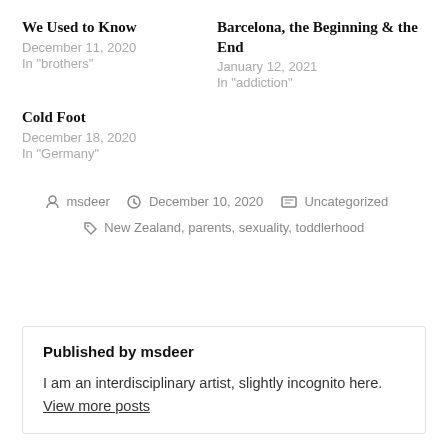We Used to Know
December 11, 2020
In "brothers"
Barcelona, the Beginning & the End
January 12, 2021
In "addiction"
Cold Foot
December 18, 2020
In "Germany"
msdeer  December 10, 2020  Uncategorized
New Zealand, parents, sexuality, toddlerhood
Published by msdeer
I am an interdisciplinary artist, slightly incognito here. View more posts